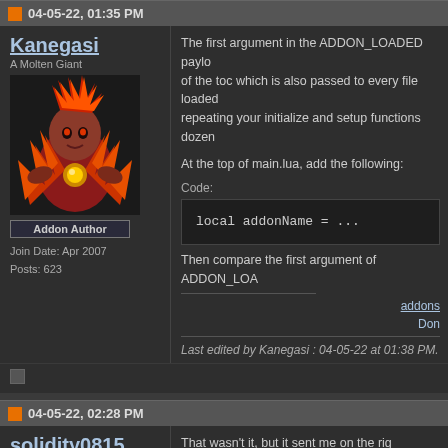04-05-22, 01:35 PM
Kanegasi
A Molten Giant
Addon Author
Join Date: Apr 2007
Posts: 623
The first argument in the ADDON_LOADED payload is the name of the toc which is also passed to every file loaded... repeating your initialize and setup functions dozen

At the top of main.lua, add the following:
Code:
local addonName = ...
Then compare the first argument of ADDON_LOA
addons
Don
Last edited by Kanegasi : 04-05-22 at 01:38 PM.
04-05-22, 02:28 PM
solidity0815
A Defias Bandit
Join Date: Apr 2022
That wasn't it, but it sent me on the rig
main.lua is no longer in use and b